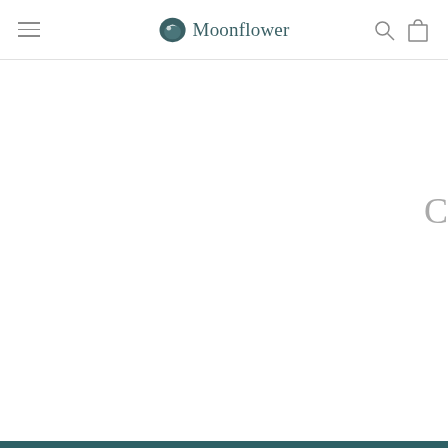Moonflower
[Figure (logo): Moonflower brand logo with moon/bird icon and brand name, plus hamburger menu, search icon, and cart icon in navigation bar]
C